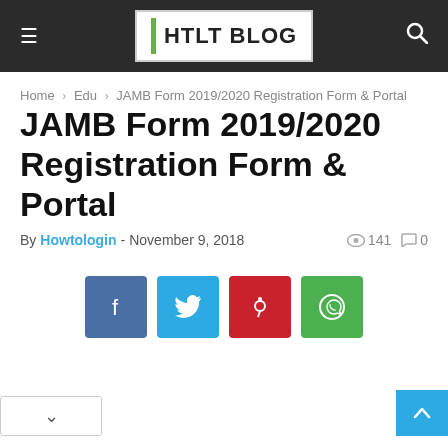HTLT BLOG
Home › Edu › JAMB Form 2019/2020 Registration Form & Portal
JAMB Form 2019/2020 Registration Form & Portal
By Howtologin - November 9, 2018   141  0
[Figure (infographic): Social share buttons: Facebook (blue), Twitter (cyan), Pinterest (red), WhatsApp (green)]